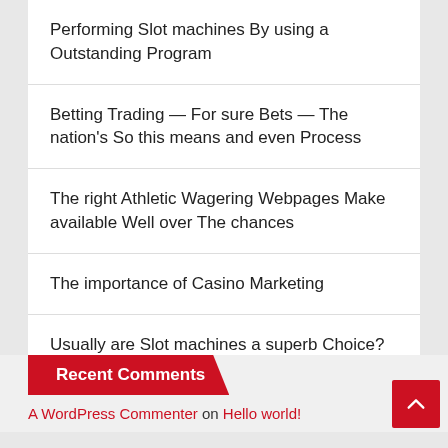Performing Slot machines By using a Outstanding Program
Betting Trading — For sure Bets — The nation's So this means and even Process
The right Athletic Wagering Webpages Make available Well over The chances
The importance of Casino Marketing
Usually are Slot machines a superb Choice?
Recent Comments
A WordPress Commenter on Hello world!